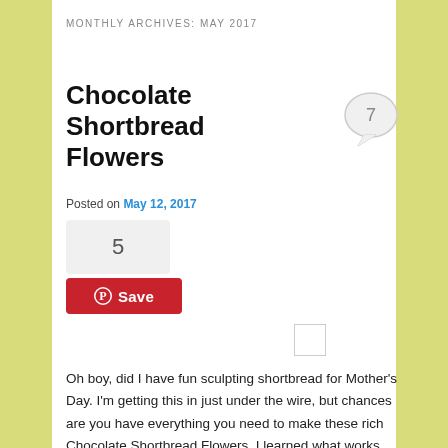MONTHLY ARCHIVES: MAY 2017
Chocolate Shortbread Flowers
Posted on May 12, 2017
[Figure (other): Pinterest pin count widget showing 5 pins and a red Save button with Pinterest logo]
[Figure (other): Small placeholder image box (empty/loading)]
[Figure (other): Speech bubble comment icon with number 7]
Oh boy, did I have fun sculpting shortbread for Mother’s Day. I’m getting this in just under the wire, but chances are you have everything you need to make these rich Chocolate Shortbread Flowers. I learned what works (and what definitely doesn’t) when it comes to designing cookie flowers, and have chosen my two favorite options for this post: roses and two-layer posies.